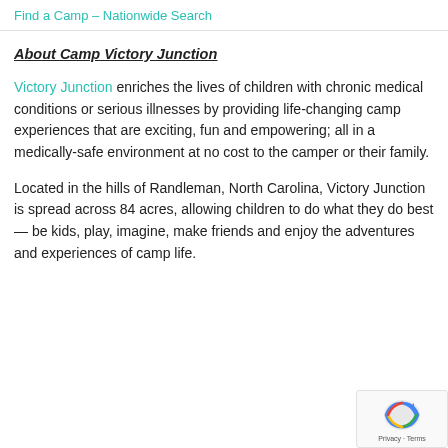Find a Camp – Nationwide Search
About Camp Victory Junction
Victory Junction enriches the lives of children with chronic medical conditions or serious illnesses by providing life-changing camp experiences that are exciting, fun and empowering; all in a medically-safe environment at no cost to the camper or their family.
Located in the hills of Randleman, North Carolina, Victory Junction is spread across 84 acres, allowing children to do what they do best— be kids, play, imagine, make friends and enjoy the adventures and experiences of camp life.